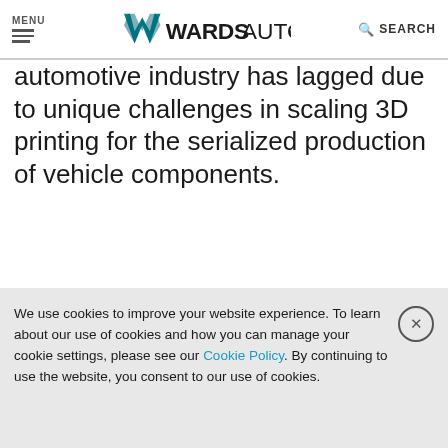MENU | WardsAuto | SEARCH
automotive industry has lagged due to unique challenges in scaling 3D printing for the serialized production of vehicle components.
Ellen Lee | May 19, 2022
[Figure (screenshot): Share buttons row: PDF (red border), Email (grey), Facebook (blue), LinkedIn (blue), Twitter (blue), Pinterest (red)]
We use cookies to improve your website experience. To learn about our use of cookies and how you can manage your cookie settings, please see our Cookie Policy. By continuing to use the website, you consent to our use of cookies.